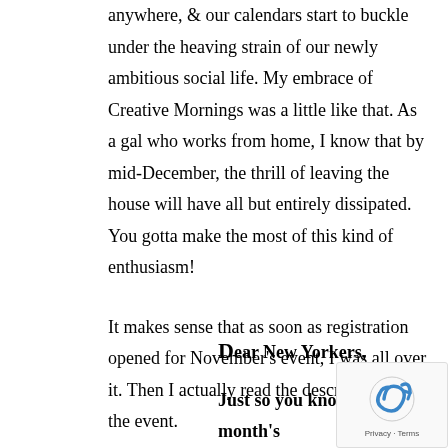anywhere, & our calendars start to buckle under the heaving strain of our newly ambitious social life. My embrace of Creative Mornings was a little like that. As a gal who works from home, I know that by mid-December, the thrill of leaving the house will have all but entirely dissipated. You gotta make the most of this kind of enthusiasm!
It makes sense that as soon as registration opened for November's event, I was all over it. Then I actually read the description of the event.
Dear New Yorkers,
Just so you know, this month's Creative Mornings is not about to be easy.